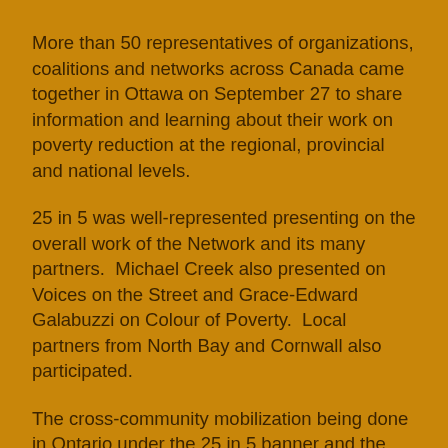More than 50 representatives of organizations, coalitions and networks across Canada came together in Ottawa on September 27 to share information and learning about their work on poverty reduction at the regional, provincial and national levels.
25 in 5 was well-represented presenting on the overall work of the Network and its many partners.  Michael Creek also presented on Voices on the Street and Grace-Edward Galabuzzi on Colour of Poverty.  Local partners from North Bay and Cornwall also participated.
The cross-community mobilization being done in Ontario under the 25 in 5 banner and the policy areas of the Declaration evoked much interest among participants from the other provinces and territories.  Developing a common Policy Framework for a national poverty reduction strategy was raised as a possible follow-up action to the Summit